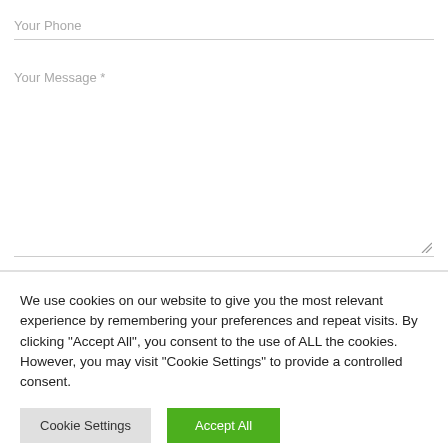Your Phone
Your Message *
We use cookies on our website to give you the most relevant experience by remembering your preferences and repeat visits. By clicking "Accept All", you consent to the use of ALL the cookies. However, you may visit "Cookie Settings" to provide a controlled consent.
Cookie Settings
Accept All